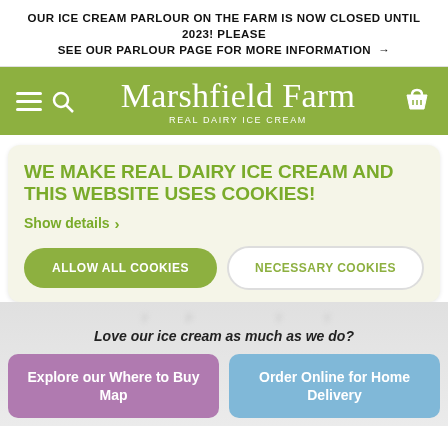OUR ICE CREAM PARLOUR ON THE FARM IS NOW CLOSED UNTIL 2023! PLEASE SEE OUR PARLOUR PAGE FOR MORE INFORMATION →
[Figure (screenshot): Marshfield Farm Real Dairy Ice Cream website navigation bar with green background, hamburger menu, search icon, logo in script font, and basket icon]
WE MAKE REAL DAIRY ICE CREAM AND THIS WEBSITE USES COOKIES!
Show details >
ALLOW ALL COOKIES
NECESSARY COOKIES
Love our ice cream as much as we do?
Explore our Where to Buy Map
Order Online for Home Delivery